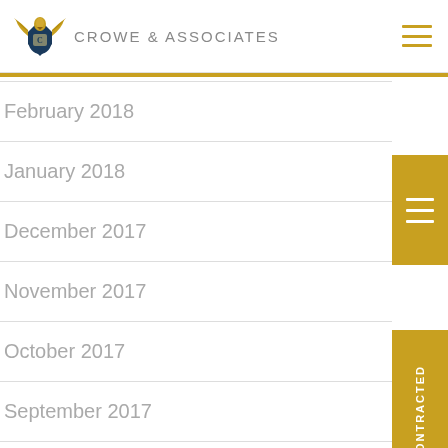Crowe & Associates
February 2018
January 2018
December 2017
November 2017
October 2017
September 2017
August 2017
July 2017